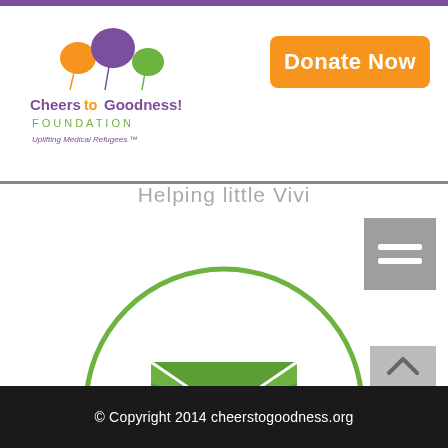[Figure (logo): Cheers to Goodness! Foundation logo with colorful heart balloons and text 'Uplifting Medical Refugees.']
[Figure (other): Orange 'Donate Now' button in top right]
Helping little Vivi
[Figure (illustration): Green envelope/email icon inside a green circle outline]
info@cheerstogoodness.org
© Copyright 2014 cheerstogoodness.org